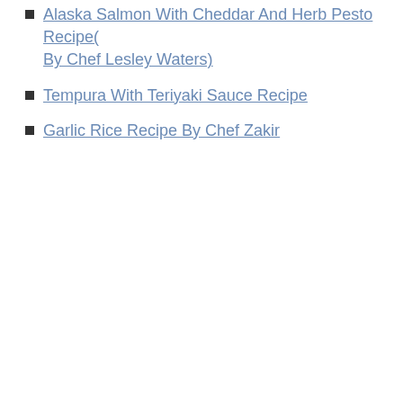Alaska Salmon With Cheddar And Herb Pesto Recipe(By Chef Lesley Waters)
Tempura With Teriyaki Sauce Recipe
Garlic Rice Recipe By Chef Zakir